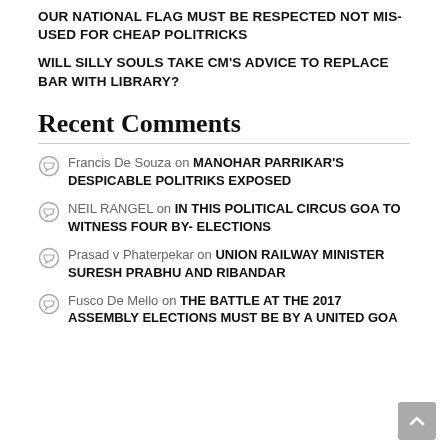OUR NATIONAL FLAG MUST BE RESPECTED NOT MIS-USED FOR CHEAP POLITRICKS
WILL SILLY SOULS TAKE CM'S ADVICE TO REPLACE BAR WITH LIBRARY?
Recent Comments
Francis De Souza on MANOHAR PARRIKAR'S DESPICABLE POLITRIKS EXPOSED
NEIL RANGEL on IN THIS POLITICAL CIRCUS GOA TO WITNESS FOUR BY- ELECTIONS
Prasad v Phaterpekar on UNION RAILWAY MINISTER SURESH PRABHU AND RIBANDAR
Fusco De Mello on THE BATTLE AT THE 2017 ASSEMBLY ELECTIONS MUST BE BY A UNITED GOA